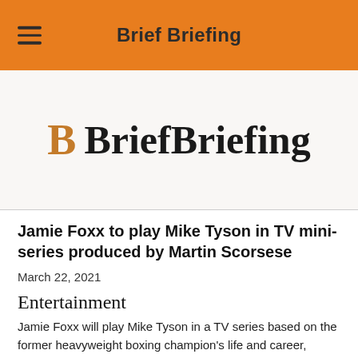Brief Briefing
[Figure (logo): BriefBriefing logo with stylized B in orange and bold serif text]
Jamie Foxx to play Mike Tyson in TV mini-series produced by Martin Scorsese
March 22, 2021
Entertainment
Jamie Foxx will play Mike Tyson in a TV series based on the former heavyweight boxing champion's life and career, producers have said.